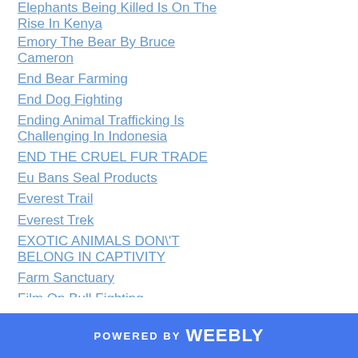Elephants Being Killed Is On The Rise In Kenya
Emory The Bear By Bruce Cameron
End Bear Farming
End Dog Fighting
Ending Animal Trafficking Is Challenging In Indonesia
END THE CRUEL FUR TRADE
Eu Bans Seal Products
Everest Trail
Everest Trek
EXOTIC ANIMALS DON\'T BELONG IN CAPTIVITY
Farm Sanctuary
Film On Bull Fighting
First Aid For Butterflies
POWERED BY weebly